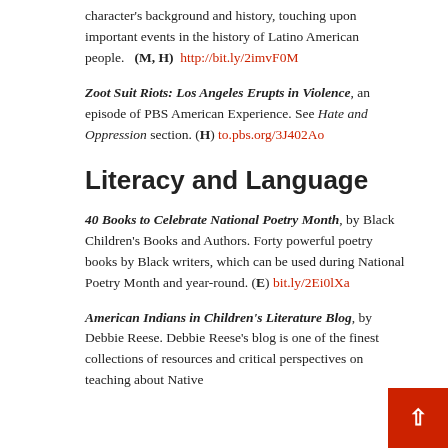character's background and history, touching upon important events in the history of Latino American people.  (M, H)  http://bit.ly/2imvF0M
Zoot Suit Riots: Los Angeles Erupts in Violence, an episode of PBS American Experience. See Hate and Oppression section. (H) to.pbs.org/3J402Ao
Literacy and Language
40 Books to Celebrate National Poetry Month, by Black Children's Books and Authors. Forty powerful poetry books by Black writers, which can be used during National Poetry Month and year-round. (E) bit.ly/2Ei0lXa
American Indians in Children's Literature Blog, by Debbie Reese. Debbie Reese's blog is one of the finest collections of resources and critical perspectives on teaching about Native